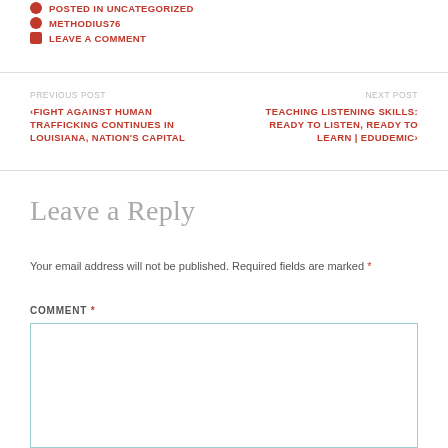POSTED IN UNCATEGORIZED
METHODIUS76
LEAVE A COMMENT
‹FIGHT AGAINST HUMAN TRAFFICKING CONTINUES IN LOUISIANA, NATION'S CAPITAL
TEACHING LISTENING SKILLS: READY TO LISTEN, READY TO LEARN | EDUDEMIC›
Leave a Reply
Your email address will not be published. Required fields are marked *
COMMENT *